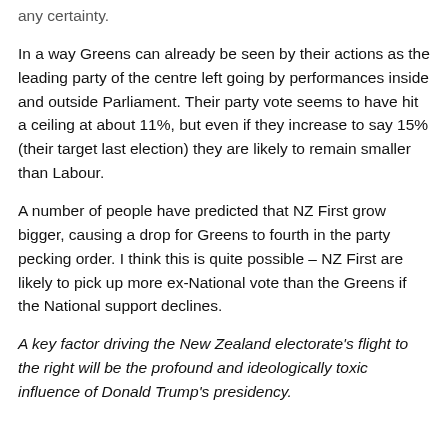any certainty.
In a way Greens can already be seen by their actions as the leading party of the centre left going by performances inside and outside Parliament. Their party vote seems to have hit a ceiling at about 11%, but even if they increase to say 15% (their target last election) they are likely to remain smaller than Labour.
A number of people have predicted that NZ First grow bigger, causing a drop for Greens to fourth in the party pecking order. I think this is quite possible – NZ First are likely to pick up more ex-National vote than the Greens if the National support declines.
A key factor driving the New Zealand electorate's flight to the right will be the profound and ideologically toxic influence of Donald Trump's presidency.